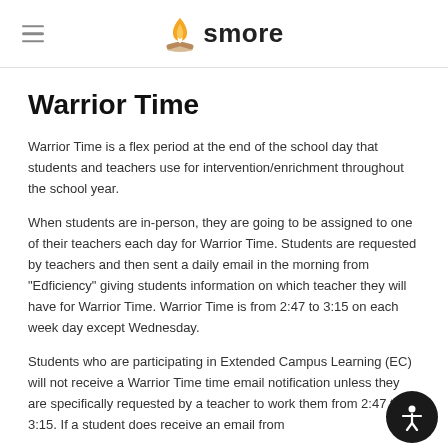smore
Warrior Time
Warrior Time is a flex period at the end of the school day that students and teachers use for intervention/enrichment throughout the school year.
When students are in-person, they are going to be assigned to one of their teachers each day for Warrior Time. Students are requested by teachers and then sent a daily email in the morning from "Edficiency" giving students information on which teacher they will have for Warrior Time. Warrior Time is from 2:47 to 3:15 on each week day except Wednesday.
Students who are participating in Extended Campus Learning (EC) will not receive a Warrior Time time email notification unless they are specifically requested by a teacher to work them from 2:47 to 3:15. If a student does receive an email from